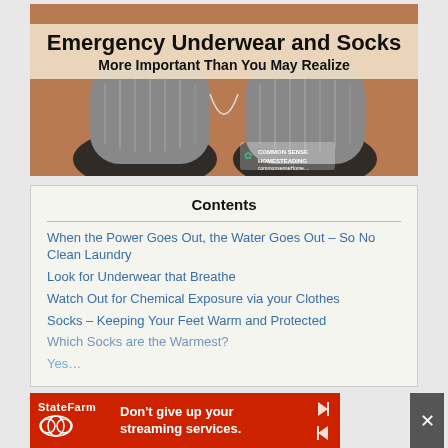[Figure (photo): Close-up photo of feet wearing grey wool socks on an orange/tan wooden floor, viewed from above. A watermark reads 'COMMON SENSE HOMESTEADING' with a small logo.]
Emergency Underwear and Socks
More Important Than You May Realize
Contents
When the Power Goes Out, the Water Goes Out – So No Clean Laundry
Look for Underwear that Breathe
Watch Out for Chemical Exposure via your Clothes
Socks – Keeping Your Feet Warm and Protected
Which Socks are the Warmest?
Yes…
[Figure (screenshot): State Farm advertisement banner: red background with State Farm logo, text reads 'Don't give up your streaming services.' with forward/back arrows and a close button.]